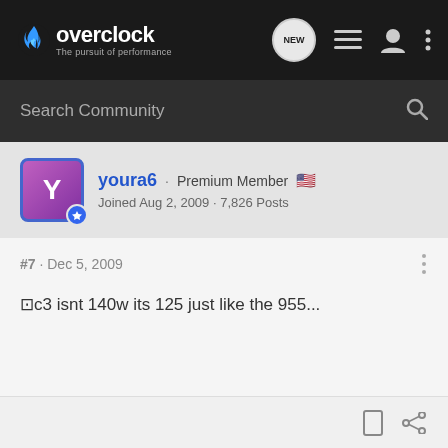overclock · The pursuit of performance
Search Community
youra6 · Premium Member 🇺🇸
Joined Aug 2, 2009 · 7,826 Posts
#7 · Dec 5, 2009
⊡c3 isnt 140w its 125 just like the 955...
XSPC Rasa 750 Owners Club